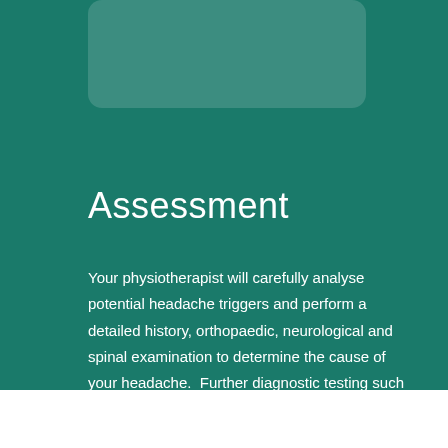[Figure (other): Rounded rectangle card shape with semi-transparent teal fill on dark teal background, partially cropped at top]
Assessment
Your physiotherapist will carefully analyse potential headache triggers and perform a detailed history, orthopaedic, neurological and spinal examination to determine the cause of your headache.  Further diagnostic testing such as X-ray or MRI may also be required.  Upon arriving at a specific diagnosis, your care can begin.